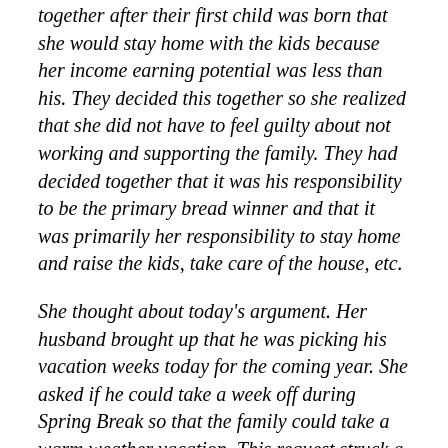together after their first child was born that she would stay home with the kids because her income earning potential was less than his. They decided this together so she realized that she did not have to feel guilty about not working and supporting the family. They had decided together that it was his responsibility to be the primary bread winner and that it was primarily her responsibility to stay home and raise the kids, take care of the house, etc.
She thought about today's argument. Her husband brought up that he was picking his vacation weeks today for the coming year. She asked if he could take a week off during Spring Break so that the family could take a warm weather vacation. This request struck a nerve in him and he became irate.